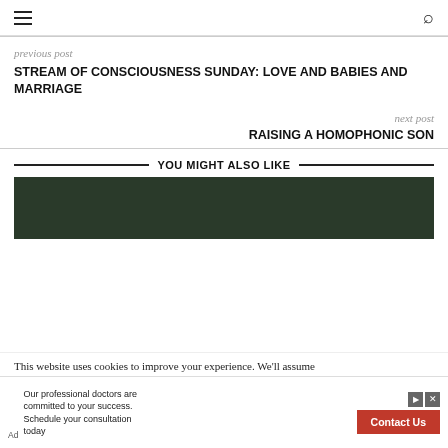Navigation bar with hamburger menu and search icon
previous post
STREAM OF CONSCIOUSNESS SUNDAY: LOVE AND BABIES AND MARRIAGE
next post
RAISING A HOMOPHONIC SON
YOU MIGHT ALSO LIKE
[Figure (photo): Dark green foliage image placeholder]
This website uses cookies to improve your experience. We'll assume
Our professional doctors are committed to your success. Schedule your consultation today
Contact Us